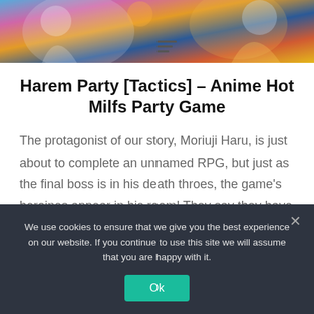[Figure (illustration): Colorful anime-style illustration banner with multiple characters, vibrant colors including blue, pink, orange, and gold tones]
Harem Party [Tactics] – Anime Hot Milfs Party Game
The protagonist of our story, Moriuji Haru, is just about to complete an unnamed RPG, but just as the final boss is in his death throes, the game's heroines appear in his room! They say they have escaped the game world and come to the real world in pursuit of the Demon Lord himself. Haru…
We use cookies to ensure that we give you the best experience on our website. If you continue to use this site we will assume that you are happy with it.